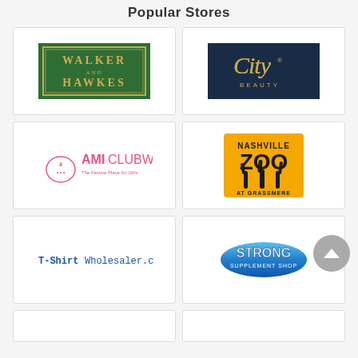Popular Stores
[Figure (logo): Walker and Hawkes logo — green background with gold text border, serif font]
[Figure (logo): City Beauty logo — dark navy background with gold script text]
[Figure (logo): AMIClubwear logo — pink text with decorative crown emblem, tagline The Festive Place for Girls]
[Figure (logo): Nashville Zoo at Grassmere logo — yellow background, bold black text, giraffe silhouettes]
[Figure (logo): T-ShirtWholesaler.com logo — blue monospace text on white]
[Figure (logo): Strong Supplement Shop logo — blue oval pill-shaped badge with bold white text]
[Figure (logo): Partial store box bottom left — white box partially visible]
[Figure (logo): Partial store box bottom right — white box partially visible]